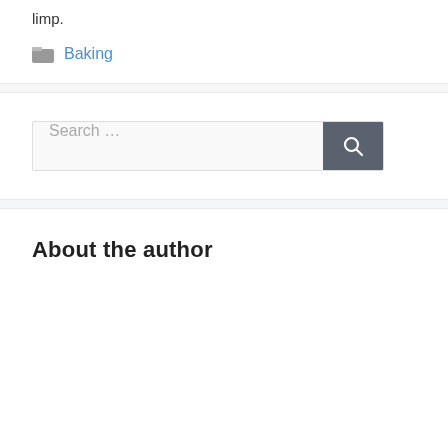limp.
Baking
[Figure (screenshot): Search bar with text 'Search ...' and a dark grey search button with magnifying glass icon]
About the author